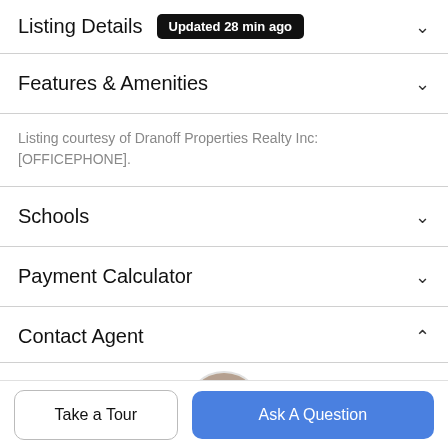Listing Details Updated 28 min ago
Features & Amenities
Listing courtesy of Dranoff Properties Realty Inc: [OFFICEPHONE].
Schools
Payment Calculator
Contact Agent
[Figure (photo): Circular profile photo of a man with glasses smiling]
Take a Tour
Ask A Question